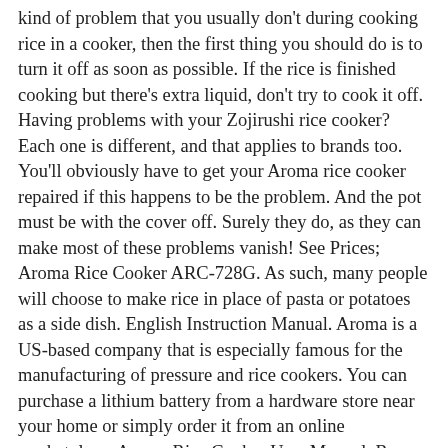kind of problem that you usually don't during cooking rice in a cooker, then the first thing you should do is to turn it off as soon as possible. If the rice is finished cooking but there's extra liquid, don't try to cook it off. Having problems with your Zojirushi rice cooker? Each one is different, and that applies to brands too. You'll obviously have to get your Aroma rice cooker repaired if this happens to be the problem. And the pot must be with the cover off. Surely they do, as they can make most of these problems vanish! See Prices; Aroma Rice Cooker ARC-728G. As such, many people will choose to make rice in place of pasta or potatoes as a side dish. English Instruction Manual. Aroma is a US-based company that is especially famous for the manufacturing of pressure and rice cookers. You can purchase a lithium battery from a hardware store near your home or simply order it from an online marketplace. Aroma Rice Cooker User Manual. Reason for beeping: These beeps indicate that your … Rice is too dry/hard after cooking. The water boils vigorously until it is absorbed by the food, or boils off as steam. Don't Miss Out On A New Pressure Cooker Recipe. Do not touch, cover or obstruct the steam vent on the top of the rice cooker as it is extremely hot and may cause scalding. I just add a